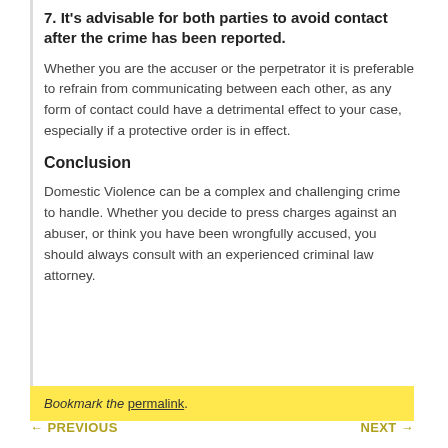7. It's advisable for both parties to avoid contact after the crime has been reported.
Whether you are the accuser or the perpetrator it is preferable to refrain from communicating between each other, as any form of contact could have a detrimental effect to your case, especially if a protective order is in effect.
Conclusion
Domestic Violence can be a complex and challenging crime to handle. Whether you decide to press charges against an abuser, or think you have been wrongfully accused, you should always consult with an experienced criminal law attorney.
Bookmark the permalink.
← PREVIOUS   NEXT →